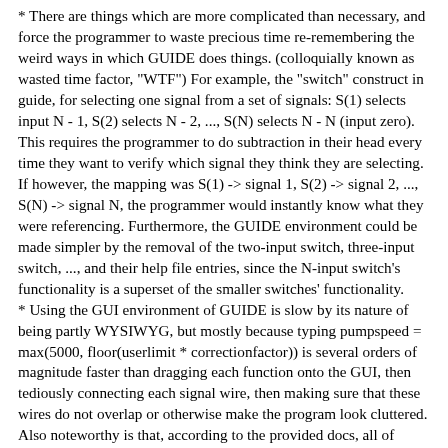* There are things which are more complicated than necessary, and force the programmer to waste precious time re-remembering the weird ways in which GUIDE does things. (colloquially known as wasted time factor, "WTF") For example, the "switch" construct in guide, for selecting one signal from a set of signals: S(1) selects input N - 1, S(2) selects N - 2, ..., S(N) selects N - N (input zero). This requires the programmer to do subtraction in their head every time they want to verify which signal they think they are selecting. If however, the mapping was S(1) -> signal 1, S(2) -> signal 2, ..., S(N) -> signal N, the programmer would instantly know what they were referencing. Furthermore, the GUIDE environment could be made simpler by the removal of the two-input switch, three-input switch, ..., and their help file entries, since the N-input switch's functionality is a superset of the smaller switches' functionality. * Using the GUI environment of GUIDE is slow by its nature of being partly WYSIWYG, but mostly because typing pumpspeed = max(5000, floor(userlimit * correctionfactor)) is several orders of magnitude faster than dragging each function onto the GUI, then tediously connecting each signal wire, then making sure that these wires do not overlap or otherwise make the program look cluttered. Also noteworthy is that, according to the provided docs, all of SDF's displays and controllers are powerful (overly powerful for controlling pumps and motors) computers, with an ARM processor, memory, and a small amount of non-volatile memory. So, I would like to know what resources exist for programming directly on the controllers using GUIDE...